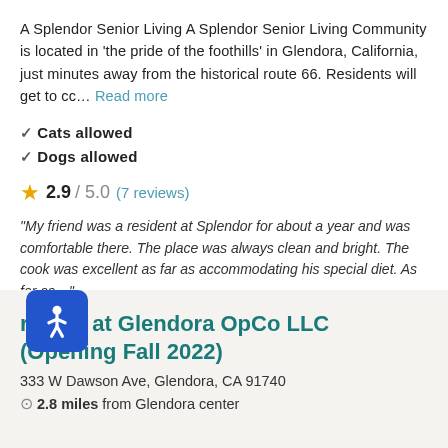A Splendor Senior Living A Splendor Senior Living Community is located in 'the pride of the foothills' in Glendora, California, just minutes away from the historical route 66. Residents will get to cc... Read more
✓ Cats allowed
✓ Dogs allowed
★ 2.9 / 5.0 (7 reviews)
"My friend was a resident at Splendor for about a year and was comfortable there. The place was always clean and bright. The cook was excellent as far as accommodating his special diet. As far as..."
rwater at Glendora OpCo LLC (Opening Fall 2022)
333 W Dawson Ave, Glendora, CA 91740
2.8 miles from Glendora center